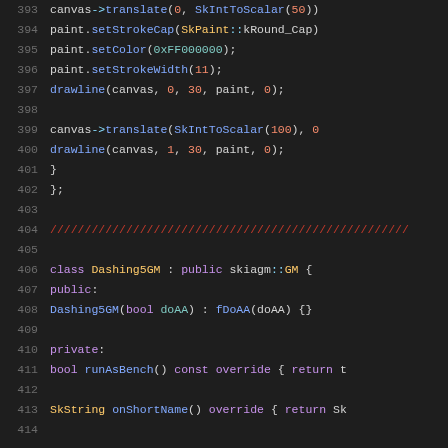[Figure (screenshot): Source code viewer showing C++ code lines 393-414 with syntax highlighting on dark background. Code shows canvas drawing operations and class definition for Dashing5GM.]